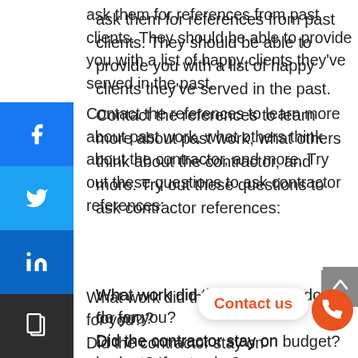ask them for references from past clients. They should be able to provide you with a list of happy clients they've served in the past.
Contact the references to learn more about past work, what others think about the contractor, and more. Try out these questions to ask contractor references:
What work did the contractor do for you?
Did the contractor stay on budget? If not, why?
Did the contractor finish in the estimated/allotted time?
Were their project delays? If so, why?
Was the crew respectful?
Did they answer your questions throughout the duration of the project?